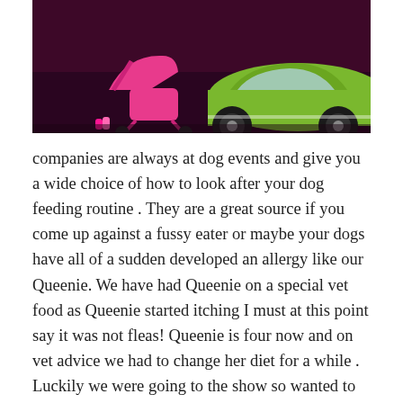[Figure (photo): Photo showing a pink dog stroller and a green vintage car in a dark/maroon background, likely at a dog show event.]
companies are always at dog events and give you a wide choice of how to look after your dog feeding routine . They are a great source if you come up against a fussy eater or maybe your dogs have all of a sudden developed an allergy like our Queenie. We have had Queenie on a special vet food as Queenie started itching I must at this point say it was not fleas! Queenie is four now and on vet advice we had to change her diet for a while . Luckily we were going to the show so wanted to talk to one of the many dog food experts dotted around the show. We have for many years seen www.barkingheads.co.uk at many shows and we loved the way they take the time to talk to people in depth with their dog food problems. So now Queenie was in need of advice we went and saw the guys at Barking Heads. We spoke to Jim who is a fountain of knowledge on doggy food problems. He recommended the Tiny Paws Range as Queenie is a little dog. “Simple natural pet food at it